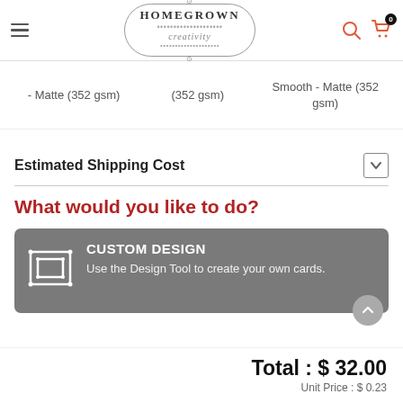[Figure (logo): Homegrown Creativity logo with decorative border]
- Matte (352 gsm)
(352 gsm)
Smooth - Matte (352 gsm)
Estimated Shipping Cost
What would you like to do?
CUSTOM DESIGN
Use the Design Tool to create your own cards.
Total : $ 32.00
Unit Price : $ 0.23